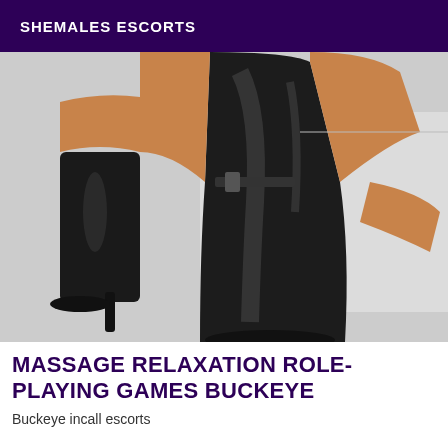SHEMALES ESCORTS
[Figure (photo): Photo of legs wearing tall black over-the-knee boots and high heeled boots against a light gray background]
MASSAGE RELAXATION ROLE-PLAYING GAMES BUCKEYE
Buckeye incall escorts